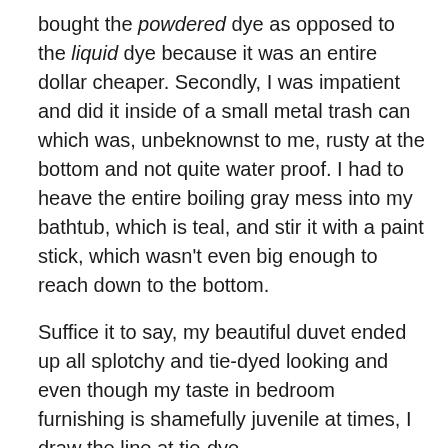bought the powdered dye as opposed to the liquid dye because it was an entire dollar cheaper. Secondly, I was impatient and did it inside of a small metal trash can which was, unbeknownst to me, rusty at the bottom and not quite water proof. I had to heave the entire boiling gray mess into my bathtub, which is teal, and stir it with a paint stick, which wasn't even big enough to reach down to the bottom.
Suffice it to say, my beautiful duvet ended up all splotchy and tie-dyed looking and even though my taste in bedroom furnishing is shamefully juvenile at times, I draw the line at tie-dye.
For my second attempt, I decided to go all out with not one but two bottles of the liquid dye. I also decided to read the directions… before getting started. Lastly, I decided it was high time to get over my fear of unknown electronics (i.e. my new-to-me washing